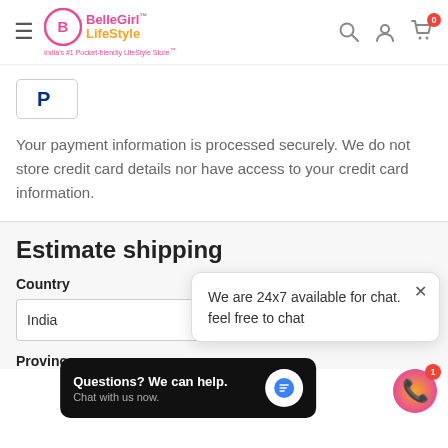BelleGirl™ LifeStyle — India's #1 Pocket-friendly LifeStyle Store™
[Figure (logo): PayPal payment option icon in a bordered box]
Your payment information is processed securely. We do not store credit card details nor have access to your credit card information.
Estimate shipping
Country
India
Province
We are 24x7 available for chat. feel free to chat
Questions? We can help. Chat with us now.